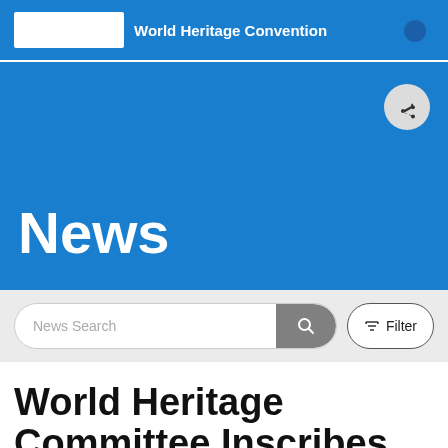World Heritage Convention
News
News Search
World Heritage Committee Inscribes 61 New Sites on